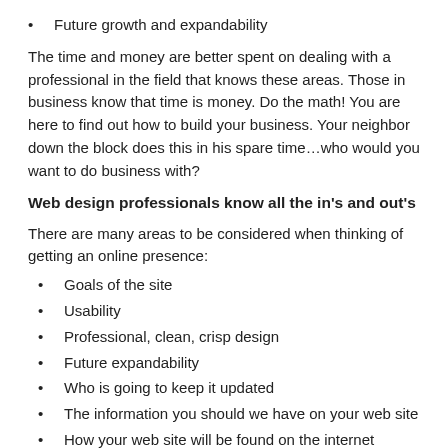Future growth and expandability
The time and money are better spent on dealing with a professional in the field that knows these areas. Those in business know that time is money. Do the math! You are here to find out how to build your business. Your neighbor down the block does this in his spare time…who would you want to do business with?
Web design professionals know all the in's and out's
There are many areas to be considered when thinking of getting an online presence:
Goals of the site
Usability
Professional, clean, crisp design
Future expandability
Who is going to keep it updated
The information you should we have on your web site
How your web site will be found on the internet
These are just a few areas that are analyzed when you decide to work with a professional web design company. Some areas are